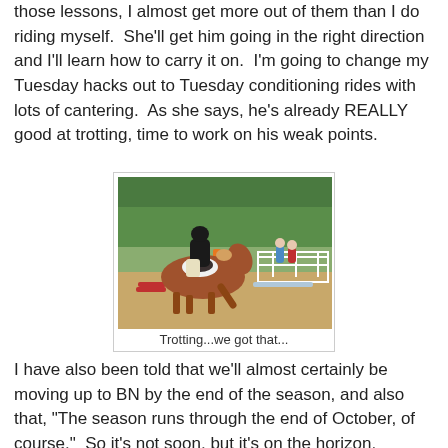those lessons, I almost get more out of them than I do riding myself.  She'll get him going in the right direction and I'll learn how to carry it on.  I'm going to change my Tuesday hacks out to Tuesday conditioning rides with lots of cantering.  As she says, he's already REALLY good at trotting, time to work on his weak points.
[Figure (photo): A rider on a chestnut horse trotting near an orange jump pole in a sandy arena, with white fence and trees in the background, spectators visible.]
Trotting...we got that...
I have also been told that we'll almost certainly be moving up to BN by the end of the season, and also that, "The season runs through the end of October, of course."  So it's not soon, but it's on the horizon.